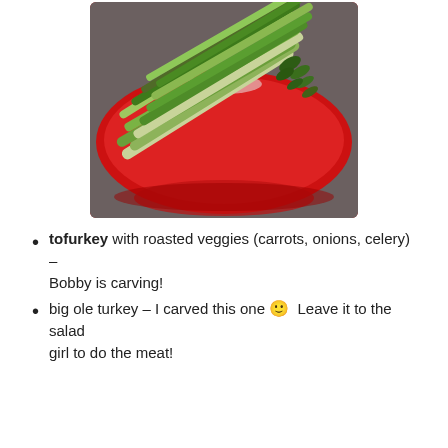[Figure (photo): Photo of asparagus spears piled on a red oval serving plate/tray, viewed from slightly above. The asparagus stalks are arranged diagonally, showing green tips and pale lower ends.]
tofurkey with roasted veggies (carrots, onions, celery) – Bobby is carving!
big ole turkey – I carved this one 🙂 Leave it to the salad girl to do the meat!